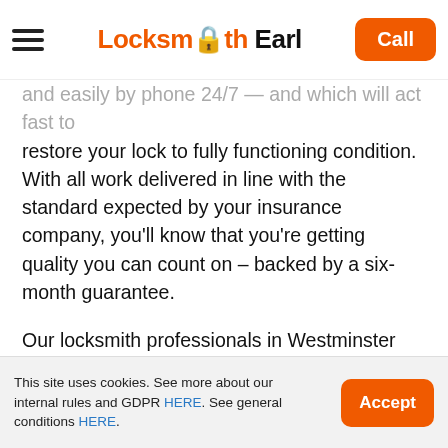Locksmith Earl | Call
and easily by phone 24/7 — and which will act fast to restore your lock to fully functioning condition. With all work delivered in line with the standard expected by your insurance company, you'll know that you're getting quality you can count on – backed by a six-month guarantee.

Our locksmith professionals in Westminster can repair any of the wide variety of door locks that you may require service on. Automobile doors use a variety of locks including manual locks, power locks, and child safety locks. There are many types of residential locks used to secure your home such as
This site uses cookies. See more about our internal rules and GDPR HERE. See general conditions HERE.